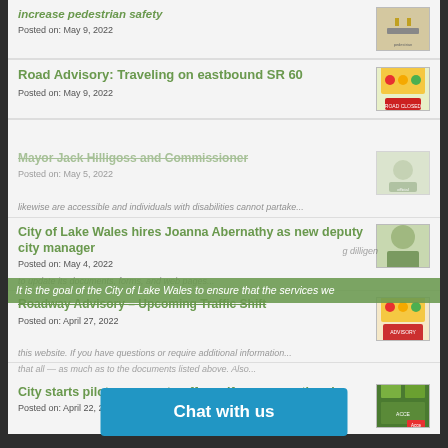increase pedestrian safety
Posted on: May 9, 2022
Road Advisory: Traveling on eastbound SR 60
Posted on: May 9, 2022
Mayor Jack Hilligoss and Commissioner
Posted on: May 5, 2022
It is the goal of the City of Lake Wales to ensure that the services we likewise are accessible and individuals with disabilities cannot partake... the City of Lake Wales is working diligently... to update its documents, forms, and web pages...
City of Lake Wales hires Joanna Abernathy as new deputy city manager
Posted on: May 4, 2022
Roadway Advisory - Upcoming Traffic Shift
Posted on: April 27, 2022
this website. If you have questions or require additional information...
City starts pilot program to offer self-pay recreational o...
Posted on: April 22, 20...
Chat with us